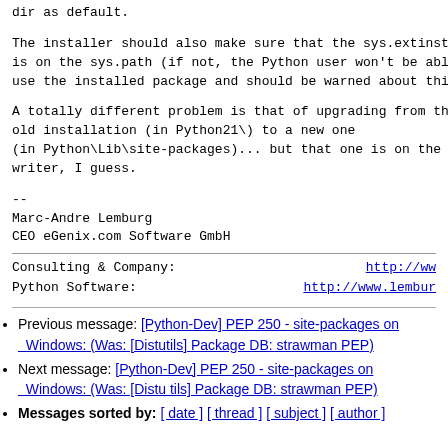dir as default.

The installer should also make sure that the sys.extinstall is on the sys.path (if not, the Python user won't be able to use the installed package and should be warned about this.

A totally different problem is that of upgrading from the old installation (in Python21\) to a new one (in Python\Lib\site-packages)... but that one is on the writer, I guess.
--
Marc-Andre Lemburg
CEO eGenix.com Software GmbH
Consulting & Company:    http://www...
Python Software:         http://www.lembur...
Previous message: [Python-Dev] PEP 250 - site-packages on Windows: (Was: [Distutils] Package DB: strawman PEP)
Next message: [Python-Dev] PEP 250 - site-packages on Windows: (Was: [Distu tils] Package DB: strawman PEP)
Messages sorted by: [ date ] [ thread ] [ subject ] [ author ]